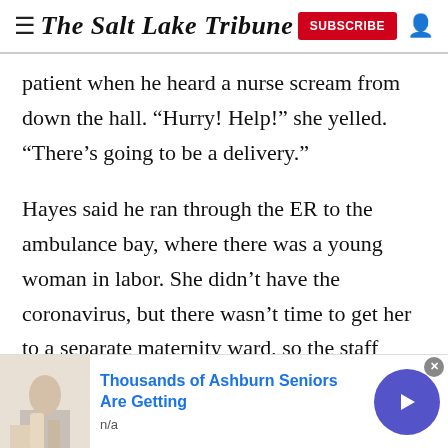The Salt Lake Tribune
patient when he heard a nurse scream from down the hall. “Hurry! Help!” she yelled. “There’s going to be a delivery.”
Hayes said he ran through the ER to the ambulance bay, where there was a young woman in labor. She didn’t have the coronavirus, but there wasn’t time to get her to a separate maternity ward, so the staff made her a private space where they could help her.
[Figure (photo): Advertisement banner with brownish/wood texture background]
[Figure (infographic): Bottom advertisement: Thousands of Ashburn Seniors Are Getting, n/a, with image of person and navigation arrow button]